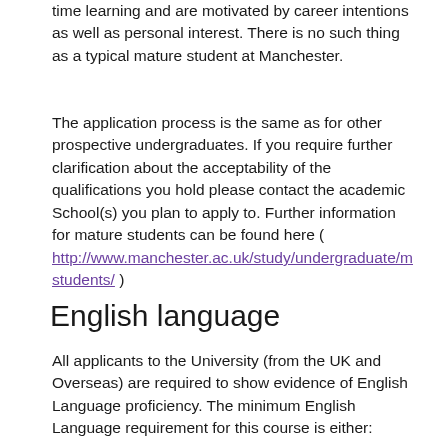time learning and are motivated by career intentions as well as personal interest.  There is no such thing as a typical mature student at Manchester.
The application process is the same as for other prospective undergraduates.  If you require further clarification about the acceptability of the qualifications you hold please contact the academic School(s) you plan to apply to.  Further information for mature students can be found here ( http://www.manchester.ac.uk/study/undergraduate/mstudents/ )
English language
All applicants to the University (from the UK and Overseas) are required to show evidence of English Language proficiency.  The minimum English Language requirement for this course is either:
GCSE/GCSE English language grade C or